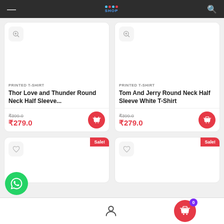Shopping app header with logo and search
[Figure (screenshot): Product card - Thor Love and Thunder Round Neck Half Sleeve T-Shirt, PRINTED T-SHIRT category, price ₹399.0 original, ₹279.0 sale]
[Figure (screenshot): Product card - Tom And Jerry Round Neck Half Sleeve White T-Shirt, PRINTED T-SHIRT category, price ₹399.0 original, ₹279.0 sale]
[Figure (screenshot): Partial product card with Sale! badge]
[Figure (screenshot): Partial product card with Sale! badge]
Bottom navigation bar with WhatsApp button, user icon, and cart with badge 0